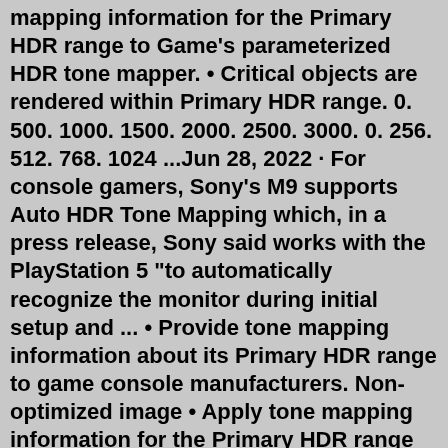mapping information for the Primary HDR range to Game's parameterized HDR tone mapper. • Critical objects are rendered within Primary HDR range. 0. 500. 1000. 1500. 2000. 2500. 3000. 0. 256. 512. 768. 1024 ...Jun 28, 2022 · For console gamers, Sony's M9 supports Auto HDR Tone Mapping which, in a press release, Sony said works with the PlayStation 5 "to automatically recognize the monitor during initial setup and ... • Provide tone mapping information about its Primary HDR range to game console manufacturers. Non-optimized image • Apply tone mapping information for the Primary HDR range to Game's parameterized HDR tone mapper. • Critical objects are rendered within Primary HDR range. 0. 500. 1000. 1500. 2000. 2500. 3000. 0. 256. 512. 768. 1024. Apr 30, 2021 · Dynamic tone mapping adjusts the curve to give you the best image from scene to scene. In practice, the differences are pretty stark. Most projectors that have dynamic tone mapping have a couple of settings. Off, Low, Medium, High, and Auto are common. We always recommend you